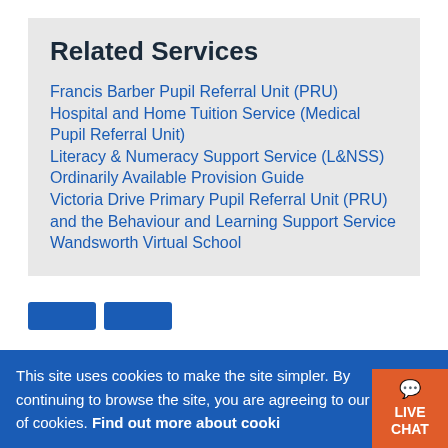Related Services
Francis Barber Pupil Referral Unit (PRU)
Hospital and Home Tuition Service (Medical Pupil Referral Unit)
Literacy & Numeracy Support Service (L&NSS)
Ordinarily Available Provision Guide
Victoria Drive Primary Pupil Referral Unit (PRU) and the Behaviour and Learning Support Service
Wandsworth Virtual School
This site uses cookies to make the site simpler. By continuing to browse the site, you are agreeing to our use of cookies. Find out more about cookies